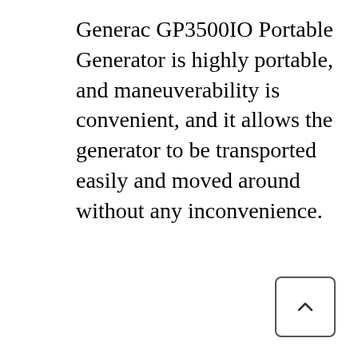Generac GP3500IO Portable Generator is highly portable, and maneuverability is convenient, and it allows the generator to be transported easily and moved around without any inconvenience.